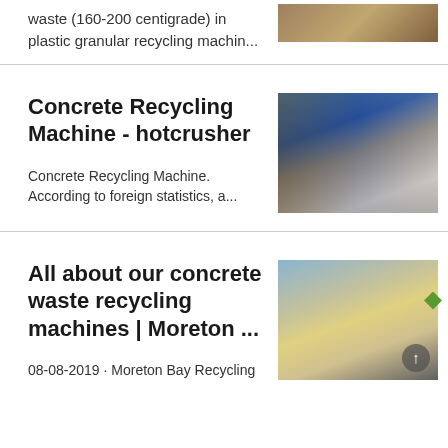waste (160-200 centigrade) in plastic granular recycling machin...
[Figure (photo): Industrial machinery photo (top, partially visible)]
Concrete Recycling Machine - hotcrusher
[Figure (photo): Industrial concrete recycling equipment with blue tank and pipes]
Concrete Recycling Machine. According to foreign statistics, a...
All about our concrete waste recycling machines | Moreton ...
[Figure (photo): Concrete waste recycling machine on tracks outdoors]
08-08-2019 · Moreton Bay Recycling